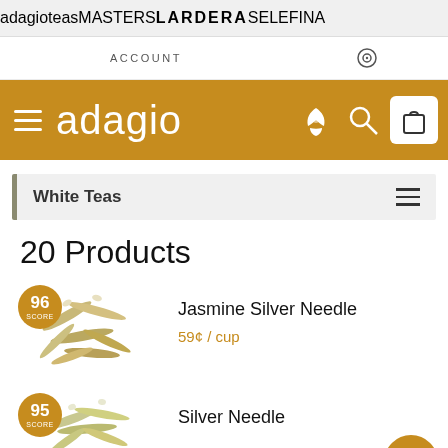adagioteas | MASTERS | LARDERA | SELEFINA
ACCOUNT
adagio
White Teas
20 Products
Jasmine Silver Needle
59¢ / cup
Score: 96
Silver Needle
Score: 95